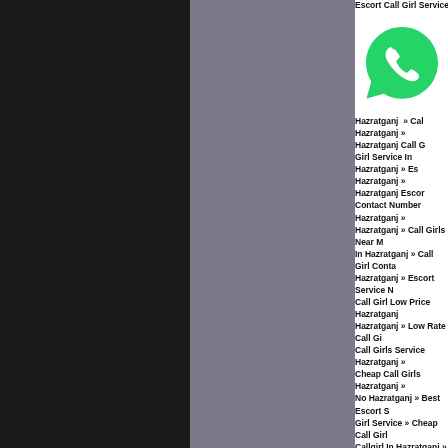[Figure (illustration): Dark left panel (black) and gray center panel forming background columns]
[Figure (logo): WhatsApp green logo icon in the upper right content area]
Escort Call Girl Service In Alam... Hazratganj » Call... Hazratganj » Hazratganj Call G... Girl Service In Hazratganj » Es... Hazratganj » Hazratganj Escor... Contact Number Hazratganj » ... Hazratganj » Call Girls Near M... In Hazratganj » Call Girl Conta... Hazratganj » Escort Service N... Call Girl Low Price Hazratganj Hazratganj » Low Rate Call Gi... Call Girls Service Hazratganj »... Cheap Call Girls Hazratganj »... No Hazratganj » Best Escort S... Girl Service » Cheap Call Girl... Callgirl In Hazratganj » Escort... Number » Escort Hazratganj »... Call Girls Hazratganj » Escorts Service In Hazratganj » Hazra... Hazratganj » Call Girl Phone N... Girls Hazratganj » Call Girl Se... Escort Service Hazratganj » In... Low Cost Call Girl Hazratganj Contact No Hazratganj » Esco... » Indian Call Girl Pics Hazratg... Escort Call Girl Hazratganj » N...